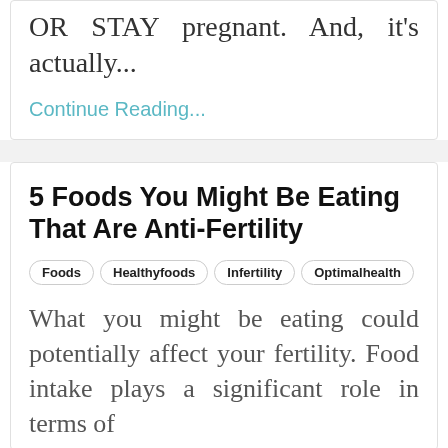OR STAY pregnant. And, it's actually...
Continue Reading...
5 Foods You Might Be Eating That Are Anti-Fertility
Foods
Healthyfoods
Infertility
Optimalhealth
What you might be eating could potentially affect your fertility. Food intake plays a significant role in terms of